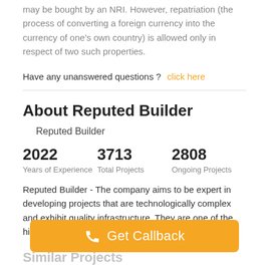may be bought by an NRI. However, repatriation (the process of converting a foreign currency into the currency of one's own country) is allowed only in respect of two such properties.
Have any unanswered questions ?  click here
About Reputed Builder
Reputed Builder
2022
Years of Experience
3713
Total Projects
2808
Ongoing Projects
Reputed Builder - The company aims to be expert in developing projects that are technologically complex and exhibit quality infrastructure. They are one of the highly respected realtors in the region.... read more
Get Callback
Similar Projects